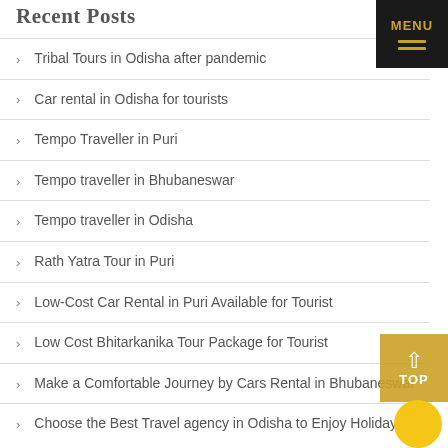Recent Posts
Tribal Tours in Odisha after pandemic
Car rental in Odisha for tourists
Tempo Traveller in Puri
Tempo traveller in Bhubaneswar
Tempo traveller in Odisha
Rath Yatra Tour in Puri
Low-Cost Car Rental in Puri Available for Tourist
Low Cost Bhitarkanika Tour Package for Tourist
Make a Comfortable Journey by Cars Rental in Bhubaneswar
Choose the Best Travel agency in Odisha to Enjoy Holiday